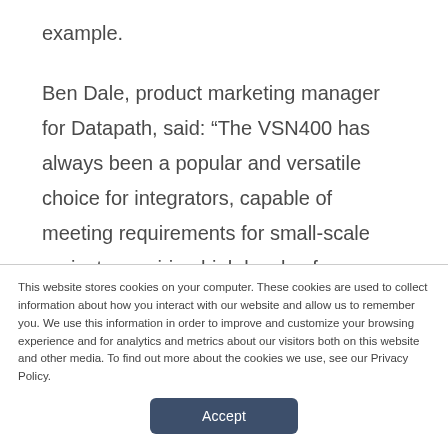example.
Ben Dale, product marketing manager for Datapath, said: “The VSN400 has always been a popular and versatile choice for integrators, capable of meeting requirements for small-scale projects requiring high levels of performance. This latest motherboard upgrade ensures that it can now be matched with Intel’s very latest CPU power, with even more
This website stores cookies on your computer. These cookies are used to collect information about how you interact with our website and allow us to remember you. We use this information in order to improve and customize your browsing experience and for analytics and metrics about our visitors both on this website and other media. To find out more about the cookies we use, see our Privacy Policy.
Accept